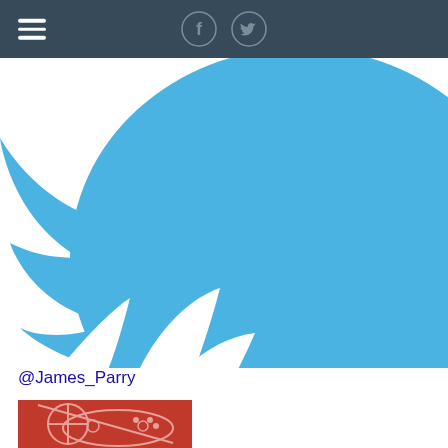Navigation header with hamburger menu and social icons (Facebook, Twitter)
[Figure (logo): Large Twitter bird logo in blue (#4ab3e2), partially cropped, centered on white background]
@James_Parry
[Figure (illustration): Red background illustration showing a game controller with a no-symbol/crosshair overlay]